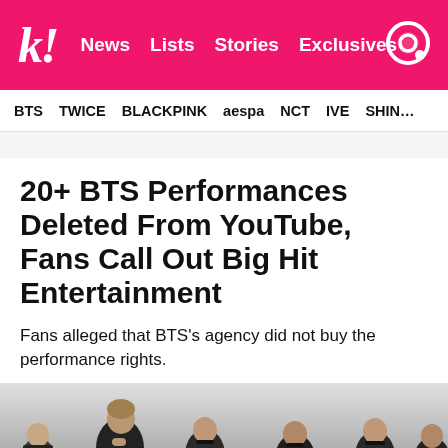k! News | Lists | Stories | Exclusives
BTS   TWICE   BLACKPINK   aespa   NCT   IVE   SHIN...
20+ BTS Performances Deleted From YouTube, Fans Call Out Big Hit Entertainment
Fans alleged that BTS's agency did not buy the performance rights.
[Figure (photo): Group photo of BTS members wearing black outfits against a light background]